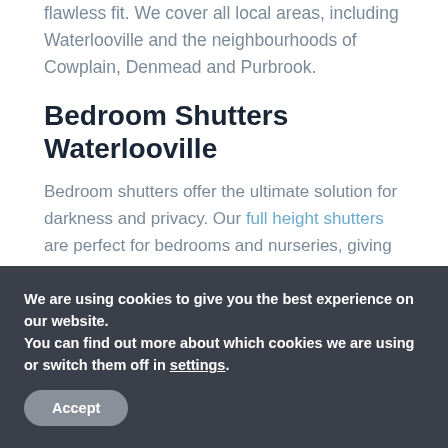flawless fit. We cover all local areas, including Waterlooville and the neighbourhoods of Cowplain, Denmead and Purbrook.
Bedroom Shutters Waterlooville
Bedroom shutters offer the ultimate solution for darkness and privacy. Our full height shutters are perfect for bedrooms and nurseries, giving you maximum blackout and privacy whilst allowing for the pictured flow of light and air when required. Practical and stylish, our bedroom shutters can be found in homes across Waterlooville and surrounding areas, including Catherington and Clanfield.
We are using cookies to give you the best experience on our website.
You can find out more about which cookies we are using or switch them off in settings.